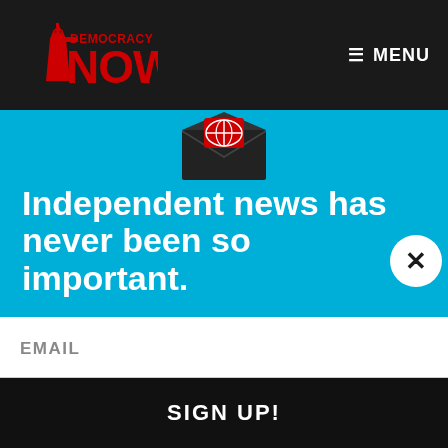[Figure (logo): Democracy Now! logo — red text with Statue of Liberty icon on dark background]
≡ MENU
[Figure (illustration): Email envelope icon with red heart/globe design, on cyan background]
Independent news has never been so important.
Did you know that you can get Democracy Now! delivered to your inbox every day?  Sign up for our Daily News Digest today!  Don't worry, we'll never share or sell your information.
EMAIL
SIGN UP!